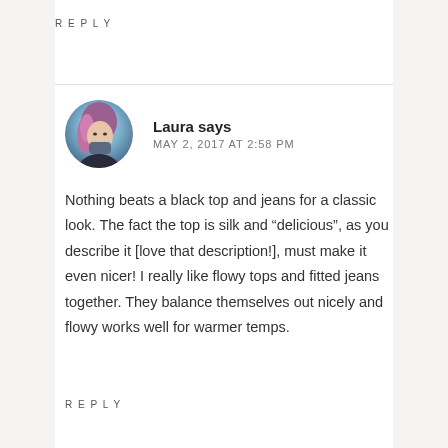REPLY
[Figure (photo): Circular avatar photo of Laura, a woman with pink/purple hair]
Laura says
MAY 2, 2017 AT 2:58 PM
Nothing beats a black top and jeans for a classic look. The fact the top is silk and “delicious”, as you describe it [love that description!], must make it even nicer! I really like flowy tops and fitted jeans together. They balance themselves out nicely and flowy works well for warmer temps.
REPLY